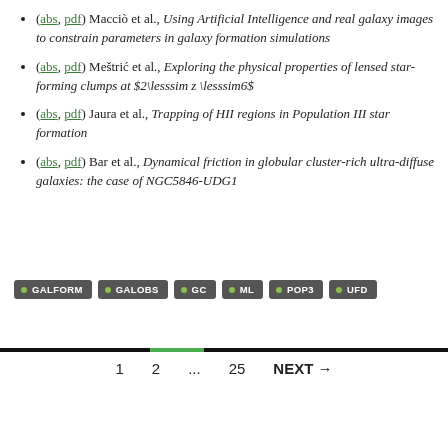(abs, pdf) Macciò et al., Using Artificial Intelligence and real galaxy images to constrain parameters in galaxy formation simulations
(abs, pdf) Meštrić et al., Exploring the physical properties of lensed star-forming clumps at $2\lesssim z \lesssim6$
(abs, pdf) Jaura et al., Trapping of HII regions in Population III star formation
(abs, pdf) Bar et al., Dynamical friction in globular cluster-rich ultra-diffuse galaxies: the case of NGC5846-UDG1
Tags: GALFORM, GALOBS, GC, ML, POP3, UFD
Pagination: 1  2  ...  25  NEXT →